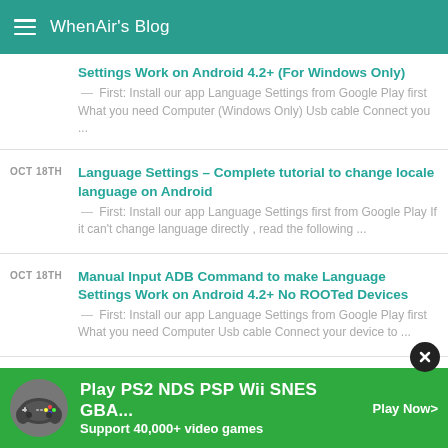WhenAir's Blog
Settings Work on Android 4.2+ (For Windows Only) — First: Install our app Language Settings from Google Play first What you need Computer (Windows Only) Usb cable Connect you ...
OCT 18TH Language Settings – Complete tutorial to change locale language on Android — First: Install our app Language Settings first from Google Play If it can't change language directly , read the following ...
OCT 18TH Manual Input ADB Command to make Language Settings Work on Android 4.2+ No ROOTed Devices — First: Install our app Language Settings from Google Play first What you need Computer Usb cable Connect your device to ...
OC…
[Figure (screenshot): Advertisement banner: Play PS2 NDS PSP Wii SNES GBA... Support 40,000+ video games Play Now>]